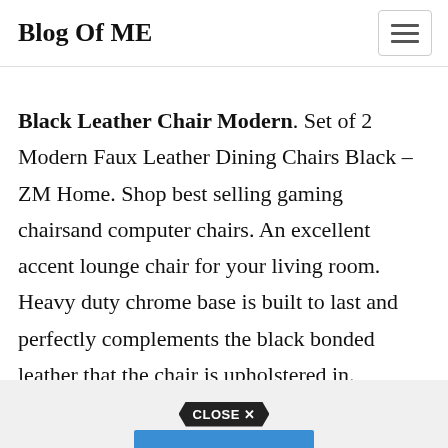Blog Of ME
Black Leather Chair Modern. Set of 2 Modern Faux Leather Dining Chairs Black - ZM Home. Shop best selling gaming chairsand computer chairs. An excellent accent lounge chair for your living room. Heavy duty chrome base is built to last and perfectly complements the black bonded leather that the chair is upholstered in.
[Figure (other): Advertisement bar at the bottom with a CLOSE X button styled as a hexagon/arrow shape on a light gray background, with a blue strip at the very bottom.]